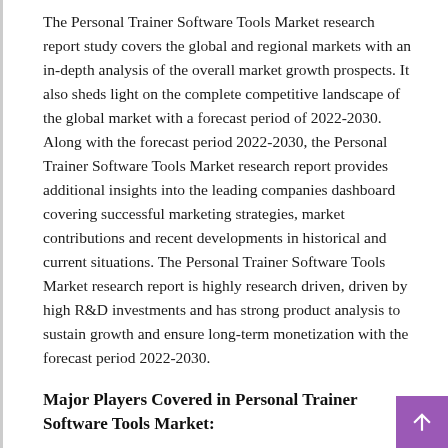The Personal Trainer Software Tools Market research report study covers the global and regional markets with an in-depth analysis of the overall market growth prospects. It also sheds light on the complete competitive landscape of the global market with a forecast period of 2022-2030. Along with the forecast period 2022-2030, the Personal Trainer Software Tools Market research report provides additional insights into the leading companies dashboard covering successful marketing strategies, market contributions and recent developments in historical and current situations. The Personal Trainer Software Tools Market research report is highly research driven, driven by high R&D investments and has strong product analysis to sustain growth and ensure long-term monetization with the forecast period 2022-2030.
Major Players Covered in Personal Trainer Software Tools Market:
mind body